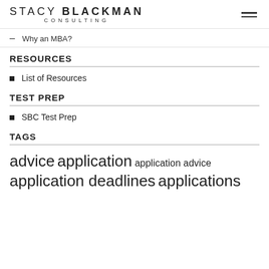STACY BLACKMAN CONSULTING
Why an MBA?
RESOURCES
List of Resources
TEST PREP
SBC Test Prep
TAGS
advice application application advice application deadlines applications